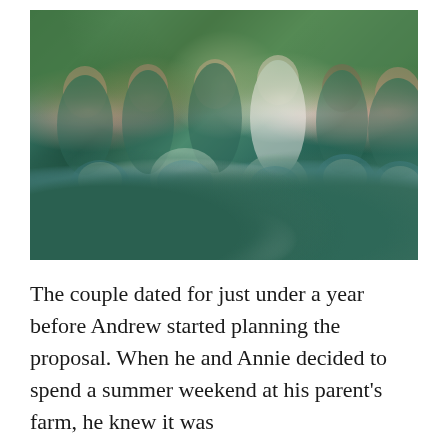[Figure (photo): Wedding photo of a bride and five bridesmaids in teal/dark green dresses, holding bouquets of blue, white, and green flowers including hydrangeas. The bride is in white. They are posed outdoors under trees.]
The couple dated for just under a year before Andrew started planning the proposal. When he and Annie decided to spend a summer weekend at his parent's farm, he knew it was